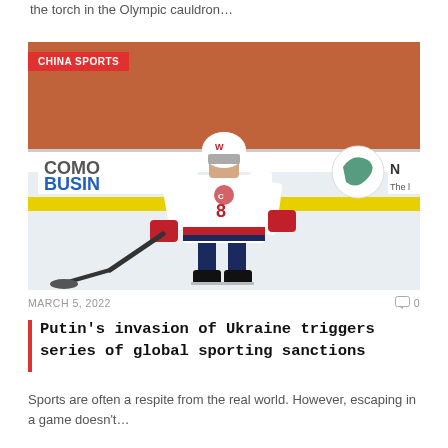the torch in the Olympic cauldron…
[Figure (photo): Ice hockey player in white Washington Capitals jersey (#8) skating on the ice at an NHL game, with a crowd of fans in orange in the background. A rink advertising board reading 'COMO BUSIN' is visible. A badge in the top-left corner reads 'CHINA SPORTS'.]
MARCH 5, 2022   💬 0
Putin's invasion of Ukraine triggers series of global sporting sanctions
Sports are often a respite from the real world. However, escaping in a game doesn't…